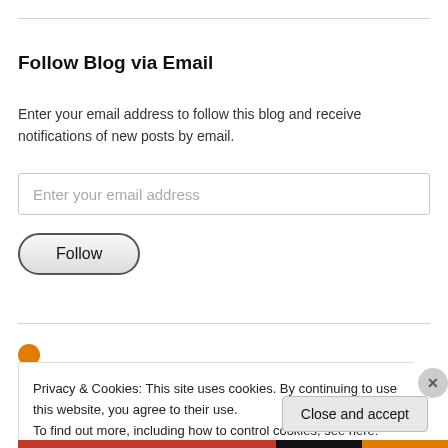Follow Blog via Email
Enter your email address to follow this blog and receive notifications of new posts by email.
[Figure (other): Email input field with placeholder text 'Enter your email address']
[Figure (other): Follow button, pill-shaped with border]
Privacy & Cookies: This site uses cookies. By continuing to use this website, you agree to their use. To find out more, including how to control cookies, see here: Cookie Policy
Close and accept